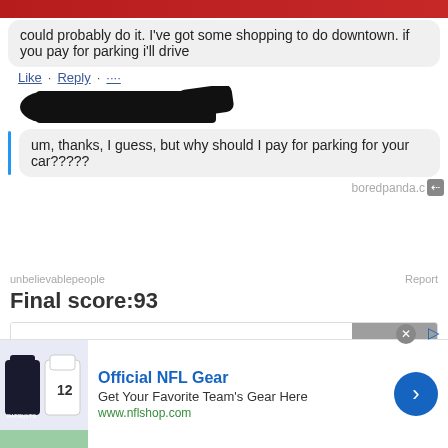[Figure (screenshot): Top of a social media post screenshot with redacted profile and message: 'could probably do it. I've got some shopping to do downtown. if you pay for parking i'll drive']
um, thanks, I guess, but why should I pay for parking for your car?????
boredpanda.com
unbelievablepeople
Report
Final score:93
Add a comment...
POST
Sarah Miranowicz  3 years ago
Because he's giving you an almost FREE ride?
78  Reply
View More Replies...
[Figure (screenshot): Advertisement for Official NFL Gear showing NFL jerseys, text: 'Official NFL Gear', 'Get Your Favorite Team's Gear Here', 'www.nflshop.com']